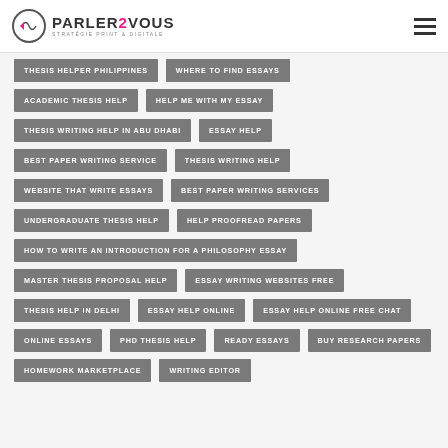PARLER2VOUS STRATÉGIE PRINT & DIGITALE
THESIS HELPER PHILIPPINES
WHERE TO FIND ESSAYS
ACADEMIC THESIS HELP
HELP ME WITH MY ESSAY
THESIS WRITING HELP IN ABU DHABI
ESSAY HELP
BEST PAPER WRITING SERVICE
THESIS WRITING HELP
WEBSITE THAT WRITE ESSAYS
BEST PAPER WRITING SERVICES
UNDERGRADUATE THESIS HELP
HELP PROOFREAD PAPERS
HOW TO WRITE AN INTRODUCTION FOR A PHILOSOPHY ESSAY
MASTER THESIS PROPOSAL HELP
ESSAY WRITING WEBSITES FREE
THESIS HELP IN DELHI
ESSAY HELP ONLINE
ESSAY HELP ONLINE FREE CHAT
ONLINE ESSAYS
PHD THESIS HELP
READY ESSAYS
BUY RESEARCH PAPERS
HOMEWORK MARKETPLACE
WRITING EDITOR